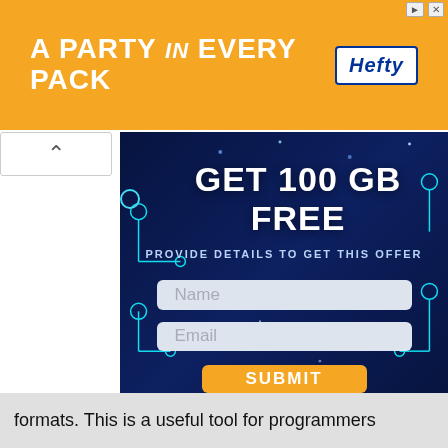[Figure (infographic): Orange ad banner reading 'A PARTY in EVERY PACK' with Hefty logo on right side]
[Figure (infographic): Dark blue tech circuit board background panel with 'GET 100 GB FREE' headline, subtitle 'PROVIDE DETAILS TO GET THIS OFFER', Name and Email input fields, and orange SUBMIT button]
formats. This is a useful tool for programmers